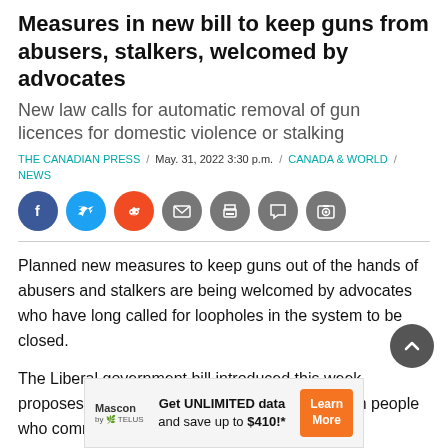Measures in new bill to keep guns from abusers, stalkers, welcomed by advocates
New law calls for automatic removal of gun licences for domestic violence or stalking
THE CANADIAN PRESS / May. 31, 2022 3:30 p.m. / CANADA & WORLD / NEWS
[Figure (infographic): Social media share icons: Facebook (blue), Twitter (light blue), Reddit (orange), Email (grey), Print (grey), Comments (grey), Photo gallery (grey)]
Planned new measures to keep guns out of the hands of abusers and stalkers are being welcomed by advocates who have long called for loopholes in the system to be closed.
The Liberal government bill introduced this week proposes automatic removal of gun licences from people who commit
[Figure (infographic): Advertisement banner: Mascon by TELUS logo on left, text 'Get UNLIMITED data and save up to $410!*' in center, orange 'Learn More' button on right]